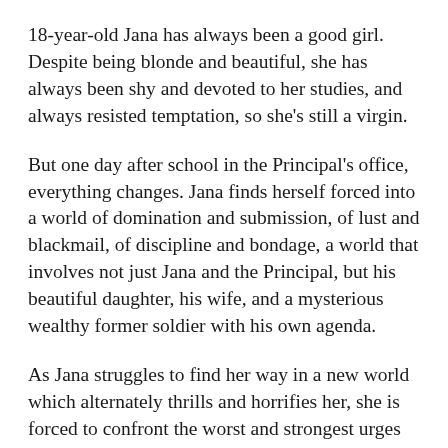18-year-old Jana has always been a good girl. Despite being blonde and beautiful, she has always been shy and devoted to her studies, and always resisted temptation, so she's still a virgin.
But one day after school in the Principal's office, everything changes. Jana finds herself forced into a world of domination and submission, of lust and blackmail, of discipline and bondage, a world that involves not just Jana and the Principal, but his beautiful daughter, his wife, and a mysterious wealthy former soldier with his own agenda.
As Jana struggles to find her way in a new world which alternately thrills and horrifies her, she is forced to confront the worst and strongest urges of herself and others, in a high-stakes game of sex, blackmail and